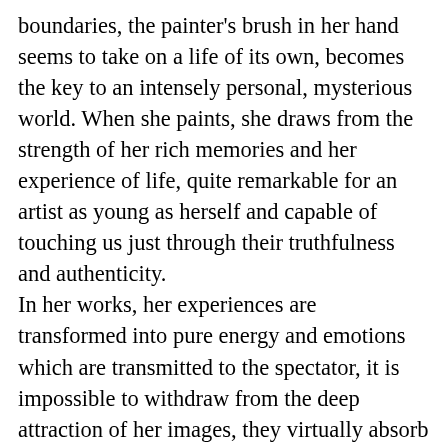boundaries, the painter's brush in her hand seems to take on a life of its own, becomes the key to an intensely personal, mysterious world. When she paints, she draws from the strength of her rich memories and her experience of life, quite remarkable for an artist as young as herself and capable of touching us just through their truthfulness and authenticity. In her works, her experiences are transformed into pure energy and emotions which are transmitted to the spectator, it is impossible to withdraw from the deep attraction of her images, they virtually absorb through their oscillating, often almost hallucinatory colours and their suggestive shapes. It is her artistic credo not to adjust whatsoever to anything that has existed, she cannot be assigned to any existing art style, her works speak of universal forces, far beyond any conventions. Inspiration comes from within herself, from her innermost feelings, her joys and pains which she